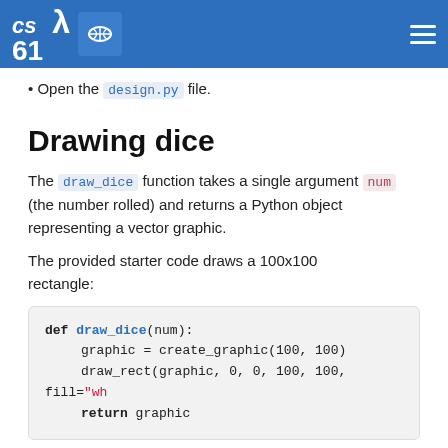CS 61A
Open the design.py file.
Drawing dice
The draw_dice function takes a single argument num (the number rolled) and returns a Python object representing a vector graphic.
The provided starter code draws a 100x100 rectangle:
def draw_dice(num):
    graphic = create_graphic(100, 100)
    draw_rect(graphic, 0, 0, 100, 100, fill="wh
    return graphic
The function create_graphic creates a vector graphic with the specified width and height. The